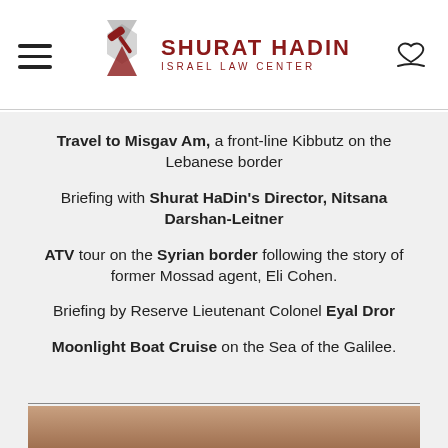Shurat Hadin Israel Law Center
Travel to Misgav Am, a front-line Kibbutz on the Lebanese border
Briefing with Shurat HaDin's Director, Nitsana Darshan-Leitner
ATV tour on the Syrian border following the story of former Mossad agent, Eli Cohen.
Briefing by Reserve Lieutenant Colonel Eyal Dror
Moonlight Boat Cruise on the Sea of the Galilee.
[Figure (photo): Bottom strip photo, partially visible]